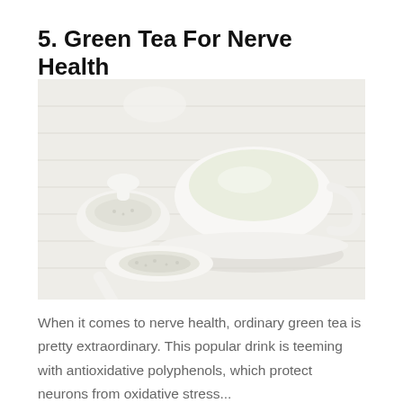5. Green Tea For Nerve Health
[Figure (photo): A white teacup filled with green tea, alongside a white bowl and a white spoon containing dry green tea leaves, arranged on a textured mat background.]
When it comes to nerve health, ordinary green tea is pretty extraordinary. This popular drink is teeming with antioxidative polyphenols, which protect neurons from oxidative stress...